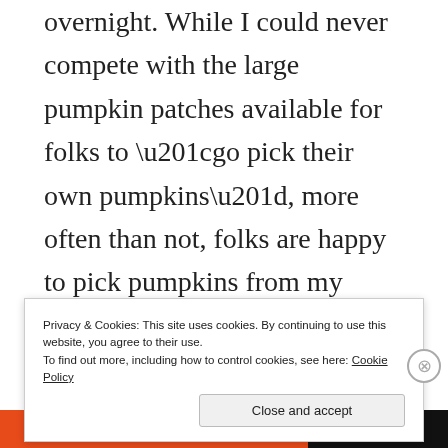overnight. While I could never compete with the large pumpkin patches available for folks to “go pick their own pumpkins”, more often than not, folks are happy to pick pumpkins from my garden to take one home. The other pumpkins? Well, that is another trip to the food bank!
Privacy & Cookies: This site uses cookies. By continuing to use this website, you agree to their use. To find out more, including how to control cookies, see here: Cookie Policy
Close and accept